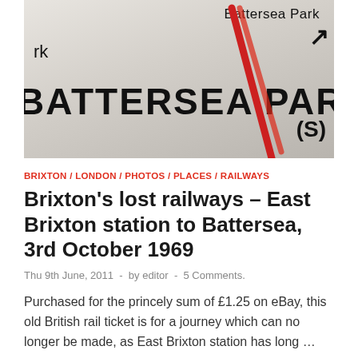[Figure (photo): Close-up photograph of a railway map showing 'BATTERSEA PARK' text in bold black letters with a red diagonal line crossing over it.]
BRIXTON / LONDON / PHOTOS / PLACES / RAILWAYS
Brixton’s lost railways – East Brixton station to Battersea, 3rd October 1969
Thu 9th June, 2011  -  by editor  -  5 Comments.
Purchased for the princely sum of £1.25 on eBay, this old British rail ticket is for a journey which can no longer be made, as East Brixton station has long …
READ MORE
[Figure (photo): Partial view of another photograph, showing light grey/beige tones at the bottom of the page.]